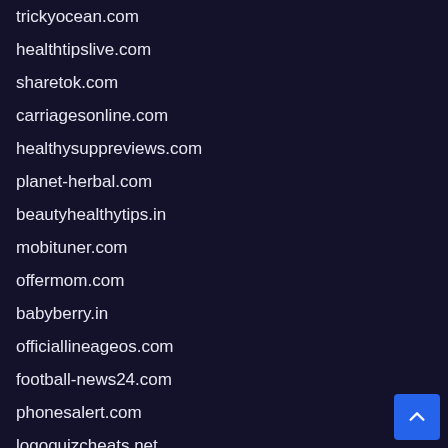trickyocean.com
healthtipslive.com
sharetok.com
carriagesonline.com
healthysuppreviews.com
planet-herbal.com
beautyhealthytips.in
mobituner.com
offermom.com
babyberry.in
officiallineageos.com
football-news24.com
phonesalert.com
logoquizcheats.net
etrendsnews.com